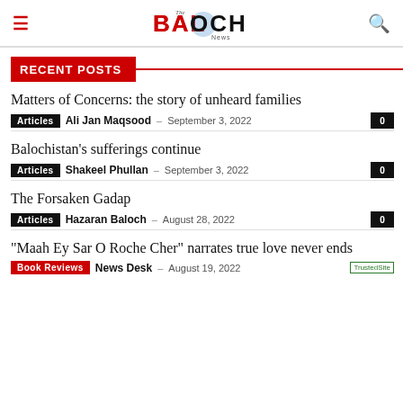The Baloch News
RECENT POSTS
Matters of Concerns: the story of unheard families
Articles  Ali Jan Maqsood  –  September 3, 2022  0
Balochistan's sufferings continue
Articles  Shakeel Phullan  –  September 3, 2022  0
The Forsaken Gadap
Articles  Hazaran Baloch  –  August 28, 2022  0
“Maah Ey Sar O Roche Cher” narrates true love never ends
Book Reviews  News Desk  –  August 19, 2022